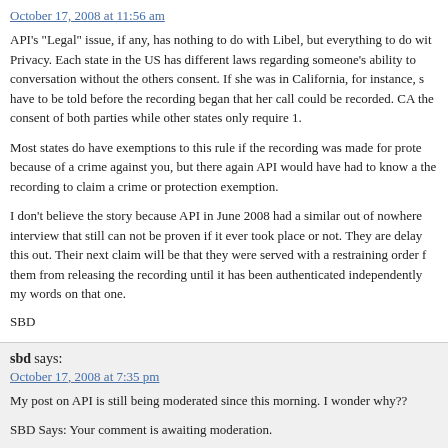October 17, 2008 at 11:56 am
API's "Legal" issue, if any, has nothing to do with Libel, but everything to do with Privacy. Each state in the US has different laws regarding someone's ability to conversation without the others consent. If she was in California, for instance, s have to be told before the recording began that her call could be recorded. CA the consent of both parties while other states only require 1.
Most states do have exemptions to this rule if the recording was made for prote because of a crime against you, but there again API would have had to know a the recording to claim a crime or protection exemption.
I don't believe the story because API in June 2008 had a similar out of nowher interview that still can not be proven if it ever took place or not. They are delay this out. Their next claim will be that they were served with a restraining order f them from releasing the recording until it has been authenticated independently my words on that one.
SBD
sbd says:
October 17, 2008 at 7:35 pm
My post on API is still being moderated since this morning. I wonder why??
SBD Says: Your comment is awaiting moderation.